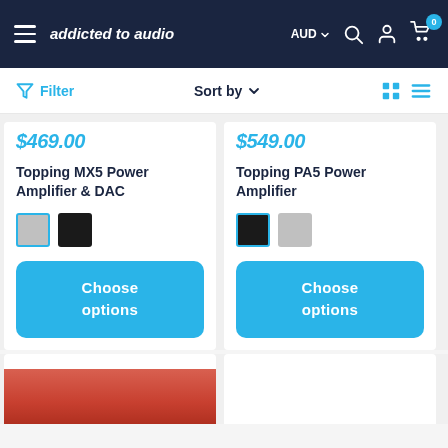addicted to audio — AUD — navigation bar
Filter | Sort by
$469.00
Topping MX5 Power Amplifier & DAC
Choose options
$549.00
Topping PA5 Power Amplifier
Choose options